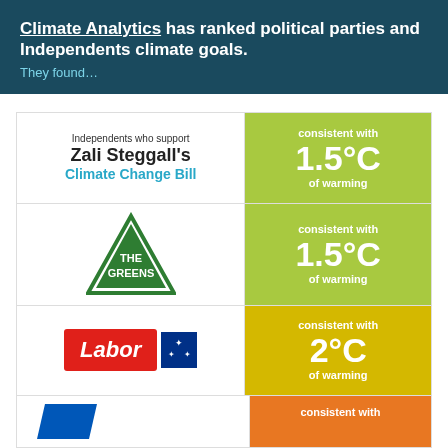Climate Analytics has ranked political parties and Independents climate goals. They found...
[Figure (infographic): Table showing political parties and their climate goal ratings by Climate Analytics. Row 1: Independents who support Zali Steggall's Climate Change Bill - consistent with 1.5°C of warming (green). Row 2: The Greens logo - consistent with 1.5°C of warming (green). Row 3: Labor logo - consistent with 2°C of warming (yellow). Row 4: Partial row showing consistent with (orange).]